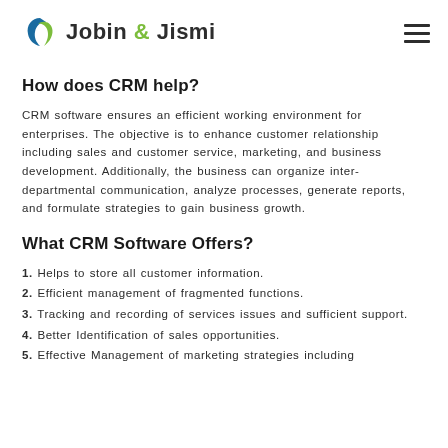Jobin & Jismi
How does CRM help?
CRM software ensures an efficient working environment for enterprises. The objective is to enhance customer relationship including sales and customer service, marketing, and business development. Additionally, the business can organize inter-departmental communication, analyze processes, generate reports, and formulate strategies to gain business growth.
What CRM Software Offers?
1. Helps to store all customer information.
2. Efficient management of fragmented functions.
3. Tracking and recording of services issues and sufficient support.
4. Better Identification of sales opportunities.
5. Effective Management of marketing strategies including